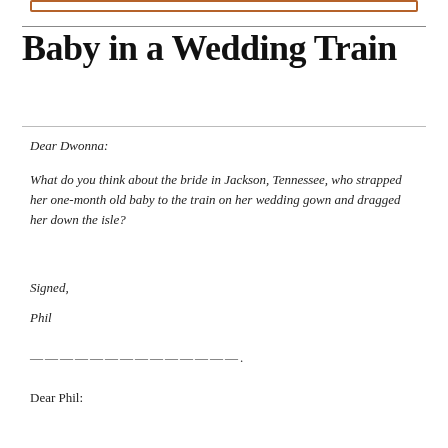[Figure (other): Orange/brown rectangular border box at top of page]
Baby in a Wedding Train
Dear Dwonna:
What do you think about the bride in Jackson, Tennessee, who strapped her one-month old baby to the train on her wedding gown and dragged her down the isle?
Signed,
Phil
——————————————.
Dear Phil: